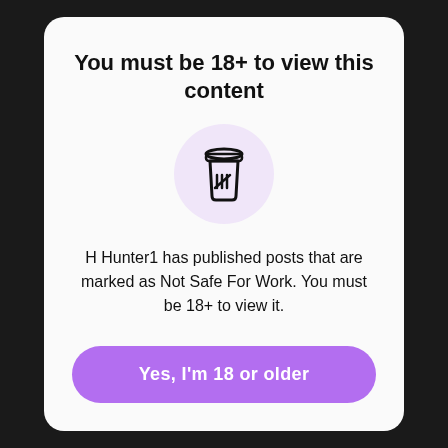You must be 18+ to view this content
[Figure (illustration): A stylized takeout coffee cup icon with a lid, displayed inside a light purple circle background. The icon is drawn in a bold outline style.]
H Hunter1 has published posts that are marked as Not Safe For Work. You must be 18+ to view it.
Yes, I'm 18 or older